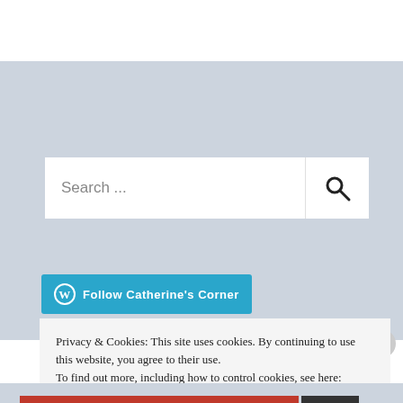[Figure (screenshot): Search bar with placeholder text 'Search ...' and a magnifying glass icon on the right]
[Figure (other): WordPress 'Follow Catherine's Corner' button with WordPress logo icon]
Privacy & Cookies: This site uses cookies. By continuing to use this website, you agree to their use.
To find out more, including how to control cookies, see here: Cookie Policy
Close and accept